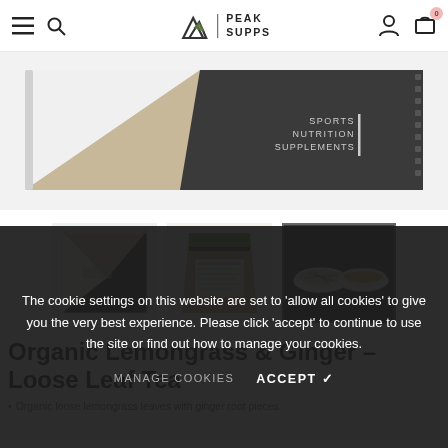Peak Supps — navigation bar with hamburger menu, search, logo, account, and cart (0 items)
[Figure (photo): Main product image: a flat supplement sachet package with white, tan/kraft, and dark grey geometric design, reading 'SPORTS NUTRITION SUPPLEMENTS' on the right side]
[Figure (photo): Three product thumbnail images: (1) white and kraft geometric pouch, (2) kraft paper bag with label, (3) two white bowls on slate — one with dried lemongrass and one with golden tea]
Organic Lemongrass & Ginger – Loose Leaf Tea
Organic loose lemongrass leaves with ginger root pieces
The cookie settings on this website are set to 'allow all cookies' to give you the very best experience. Please click 'accept' to continue to use the site or find out how to manage your cookies.
MANAGE COOKIES   ACCEPT ✓